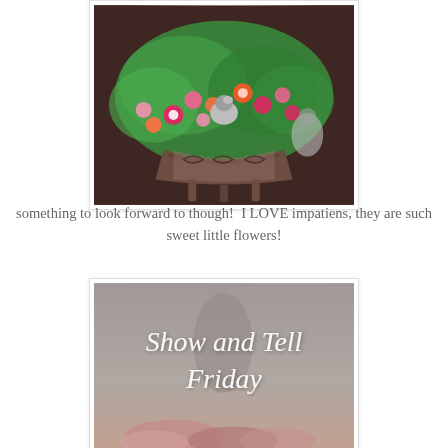[Figure (photo): A decorative iron planter basket filled with colorful impatiens flowers (pink, orange, red) and lush green foliage, with a small bird figurine in the center and an angel statue in the background.]
something to look forward to though!  I LOVE impatiens, they are such sweet little flowers!
[Figure (photo): A blurred photo with elegant script text overlay reading 'Show and Tell Friday', with pink rose petals visible at the bottom.]